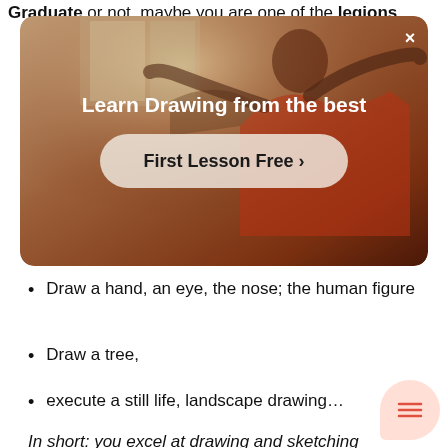Graduate or not, maybe you are one of the legions
[Figure (screenshot): Modal popup with a person drawing in the background. Title reads 'Learn Drawing from the best' with a 'First Lesson Free >' call-to-action button and a close (X) button.]
Draw a hand, an eye, the nose; the human figure
Draw a tree,
execute a still life, landscape drawing...
In short: you excel at drawing and sketching everything.